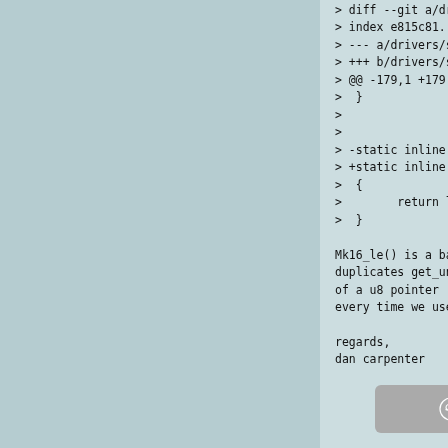> diff --git a/drivers/staging/rtl8192u/ieee
> index e815c81..efa6983 100644
> --- a/drivers/staging/rtl8192u/iee
> +++ b/drivers/staging/rtl8192u/iee
> @@ -179,1 +179,1 @@ static inline
>   }
>
>
> -static inline u16 Mk16_le(u16 *v)
> +static inline u16 Mk16_le(__le16
>   {
>         return le16_to_cpu(*v);
>   }
Mk16_le() is a bad function name and
duplicates get_unaligned_le16().  Be
of a u8 pointer (because it doesn't
every time we use it).  This is anot
regards,
dan carpenter
[Figure (other): Share button with Reddit alien icon and 'share' text on gray rounded rectangle background]